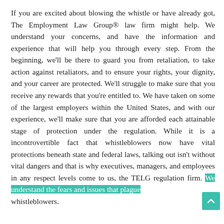If you are excited about blowing the whistle or have already got, The Employment Law Group® law firm might help. We understand your concerns, and have the information and experience that will help you through every step. From the beginning, we'll be there to guard you from retaliation, to take action against retaliators, and to ensure your rights, your dignity, and your career are protected. We'll struggle to make sure that you receive any rewards that you're entitled to. We have taken on some of the largest employers within the United States, and with our experience, we'll make sure that you are afforded each attainable stage of protection under the regulation. While it is a incontrovertible fact that whistleblowers now have vital protections beneath state and federal laws, talking out isn't without vital dangers and that is why executives, managers, and employees in any respect levels come to us, the TELG regulation firm. We understand the fears and issues that plague whistleblowers.